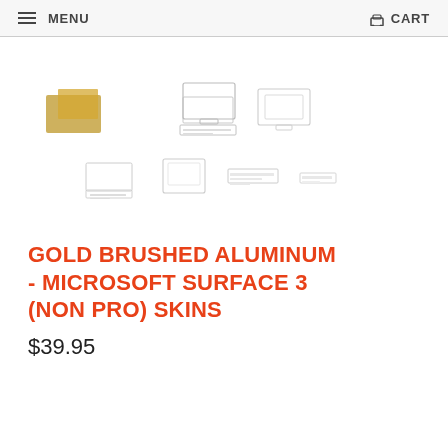MENU   CART
[Figure (photo): Product thumbnail images of gold brushed aluminum Microsoft Surface 3 skins showing various device skin configurations in a grid layout]
GOLD BRUSHED ALUMINUM - MICROSOFT SURFACE 3 (NON PRO) SKINS
$39.95